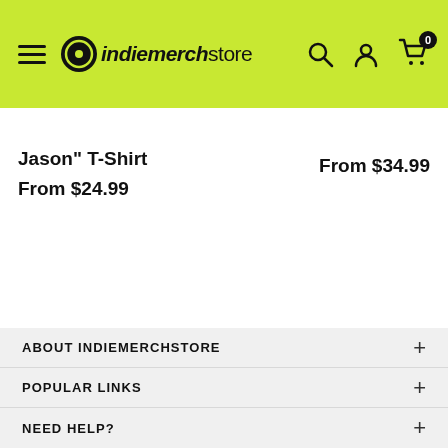indiemerchstore
Jason" T-Shirt
From $24.99
From $34.99
ABOUT INDIEMERCHSTORE
POPULAR LINKS
NEED HELP?